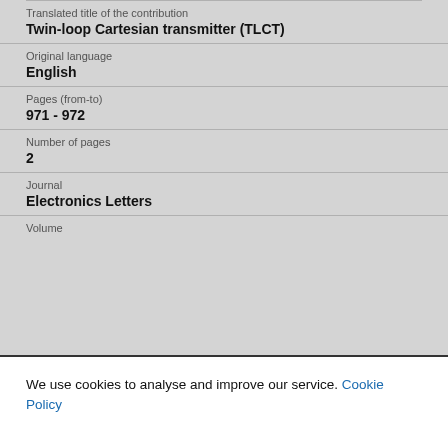Translated title of the contribution
Twin-loop Cartesian transmitter (TLCT)
Original language
English
Pages (from-to)
971 - 972
Number of pages
2
Journal
Electronics Letters
Volume
We use cookies to analyse and improve our service. Cookie Policy